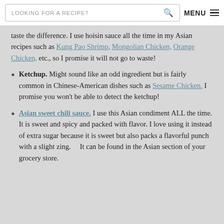LOOKING FOR A RECIPE?   MENU
taste the difference.  I use hoisin sauce all the time in my Asian recipes such as Kung Pao Shrimp, Mongolian Chicken, Orange Chicken, etc., so I promise it will not go to waste!
Ketchup.  Might sound like an odd ingredient but is fairly common in Chinese-American dishes such as Sesame Chicken.  I promise you won't be able to detect the ketchup!
Asian sweet chili sauce. I use this Asian condiment ALL the time.  It is sweet and spicy and packed with flavor.  I love using it instead of extra sugar because it is sweet but also packs a flavorful punch with a slight zing.    It can be found in the Asian section of your grocery store.